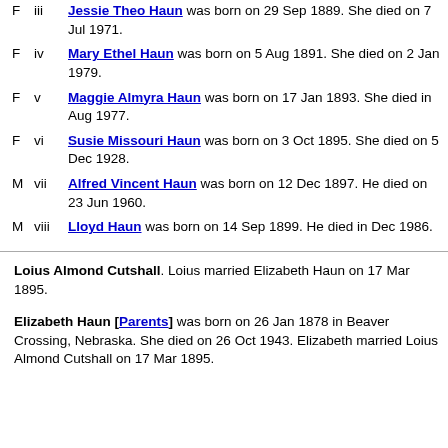F iii Jessie Theo Haun was born on 29 Sep 1889. She died on 7 Jul 1971.
F iv Mary Ethel Haun was born on 5 Aug 1891. She died on 2 Jan 1979.
F v Maggie Almyra Haun was born on 17 Jan 1893. She died in Aug 1977.
F vi Susie Missouri Haun was born on 3 Oct 1895. She died on 5 Dec 1928.
M vii Alfred Vincent Haun was born on 12 Dec 1897. He died on 23 Jun 1960.
M viii Lloyd Haun was born on 14 Sep 1899. He died in Dec 1986.
Loius Almond Cutshall. Loius married Elizabeth Haun on 17 Mar 1895.
Elizabeth Haun [Parents] was born on 26 Jan 1878 in Beaver Crossing, Nebraska. She died on 26 Oct 1943. Elizabeth married Loius Almond Cutshall on 17 Mar 1895.